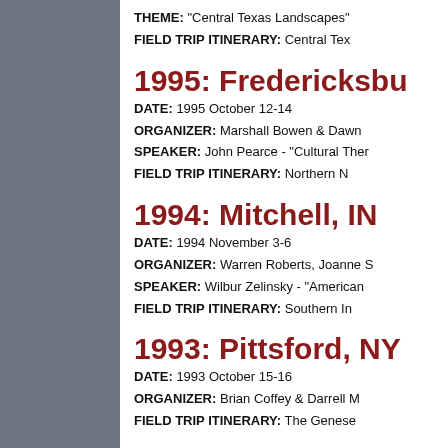THEME: “Central Texas Landscapes”
FIELD TRIP ITINERARY: Central Tex…
1995: Fredericksburg…
DATE: 1995 October 12-14
ORGANIZER: Marshall Bowen & Dawn…
SPEAKER: John Pearce - “Cultural Ther…
FIELD TRIP ITINERARY: Northern N…
1994: Mitchell, IN…
DATE: 1994 November 3-6
ORGANIZER: Warren Roberts, Joanne S…
SPEAKER: Wilbur Zelinsky - “American…
FIELD TRIP ITINERARY: Southern In…
1993: Pittsford, NY…
DATE: 1993 October 15-16
ORGANIZER: Brian Coffey & Darrell M…
FIELD TRIP ITINERARY: The Genese…